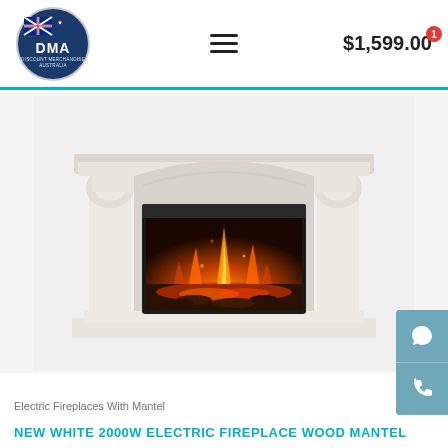[Figure (logo): DMA Discount Merchandise Australia circular logo with Australian flag]
$1,599.00
[Figure (photo): White wood mantel electric fireplace with glowing fire insert on light gray background]
Electric Fireplaces With Mantel
NEW WHITE 2000W ELECTRIC FIREPLACE WOOD MANTEL